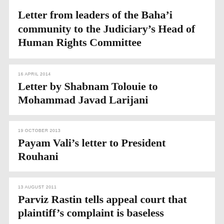Letter from leaders of the Baha'i community to the Judiciary's Head of Human Rights Committee
16 APRIL 2014
Letter by Shabnam Tolouie to Mohammad Javad Larijani
19 OCTOBER 2013
Payam Vali's letter to President Rouhani
13 AUGUST 2011
Parviz Rastin tells appeal court that plaintiff's complaint is baseless
02 DECEMBER 2010
Arson attack on shops of six Baha'is in